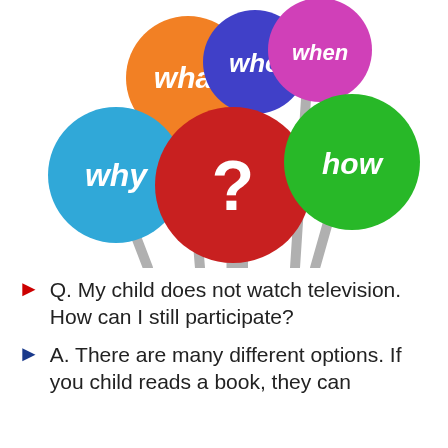[Figure (illustration): Five colorful circular signs on poles with question words: orange 'what', blue/purple 'who', pink 'when', cyan 'why', green 'how', and a large red circle in the center with a white question mark '?']
Q. My child does not watch television. How can I still participate?
A. There are many different options. If you child reads a book, they can